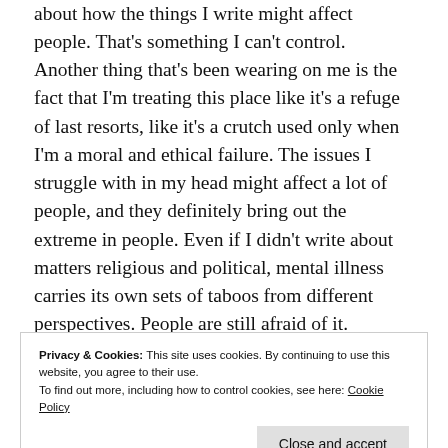about how the things I write might affect people. That's something I can't control.
Another thing that's been wearing on me is the fact that I'm treating this place like it's a refuge of last resorts, like it's a crutch used only when I'm a moral and ethical failure. The issues I struggle with in my head might affect a lot of people, and they definitely bring out the extreme in people. Even if I didn't write about matters religious and political, mental illness carries its own sets of taboos from different perspectives. People are still afraid of it.
Privacy & Cookies: This site uses cookies. By continuing to use this website, you agree to their use. To find out more, including how to control cookies, see here: Cookie Policy Close and accept
are agreeable enough that I can feel somewhat okay in